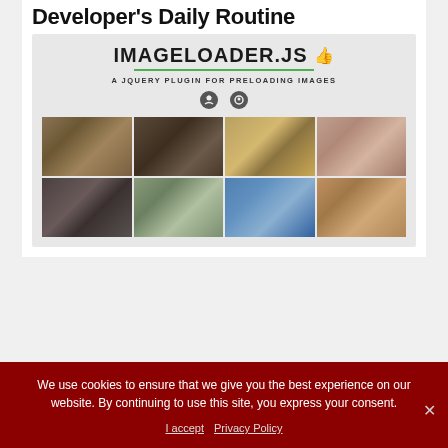Developer's Daily Routine
[Figure (screenshot): IMAGELOADER.JS plugin screenshot showing title, subtitle 'A JQUERY PLUGIN FOR PRELOADING IMAGES', icons, and a 4x2 photo grid of various photographs]
We use cookies to ensure that we give you the best experience on our website. By continuing to use this site, you express your consent.
I accept   Privacy Policy